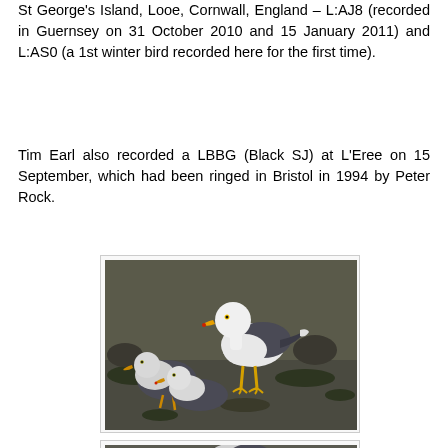St George's Island, Looe, Cornwall, England – L:AJ8 (recorded in Guernsey on 31 October 2010 and 15 January 2011) and L:AS0 (a 1st winter bird recorded here for the first time).
Tim Earl also recorded a LBBG (Black SJ) at L'Eree on 15 September, which had been ringed in Bristol in 1994 by Peter Rock.
[Figure (photo): Three Lesser Black-backed Gulls (LBBGs) standing on a rocky/muddy shore with seaweed. One adult bird in the center-right stands tall with white head and yellow bill, dark grey/black wings and yellow legs. Two other gulls are in the foreground left, appearing younger or in different plumage.]
[Figure (photo): Partial view of another seagull photo, cropped at bottom of page.]